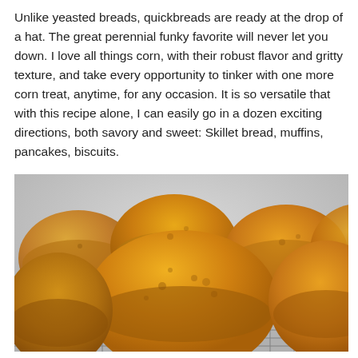Unlike yeasted breads, quickbreads are ready at the drop of a hat. The great perennial funky favorite will never let you down. I love all things corn, with their robust flavor and gritty texture, and take every opportunity to tinker with one more corn treat, anytime, for any occasion. It is so versatile that with this recipe alone, I can easily go in a dozen exciting directions, both savory and sweet: Skillet bread, muffins, pancakes, biscuits.
[Figure (photo): Close-up photo of golden-brown cornbread muffins stacked on a wire cooling rack, with light gray background. The muffins have a coarse, crumbly top texture typical of cornbread.]